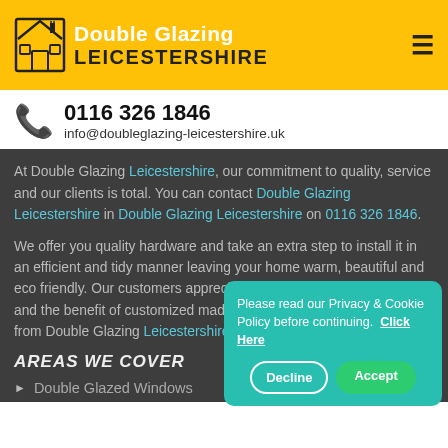[Figure (logo): Double Glazing Leicestershire logo with house icon, white and dark text on yellow background, hamburger menu icon top right]
0116 326 1846
info@doubleglazing-leicestershire.uk
At Double Glazing Leicestershire, our commitment to quality, service and our clients is total. You can contact Double Glazing Leicestershire in Double Glazing Leicestershire on 0116 326 1846.
We offer you quality hardware and take an extra step to install it in an efficient and tidy manner leaving your home warm, beautiful and eco friendly. Our customers appreciate the opportunity of decision and the benefit of customized made solutions, items and services from Double Glazing Leicestershire.
AREAS WE COVER
Double Glazed Windows
Please read our Privacy & Cookie Policy before continuing. Click Here
Decline | Accept